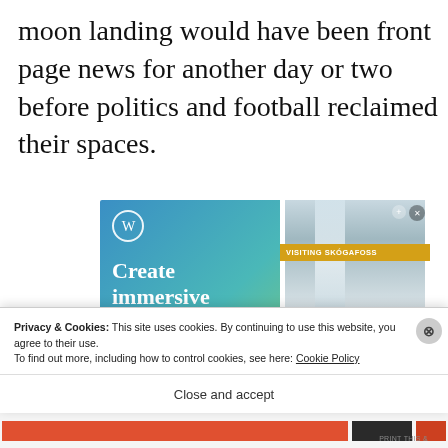moon landing would have been front page news for another day or two before politics and football reclaimed their spaces.
[Figure (screenshot): WordPress.com advertisement showing 'Create immersive stories.' text on a blue-green gradient background on the left, and a waterfall photo with 'VISITING SKÓGAFOSS' label overlay on the right, resembling a phone screen.]
Privacy & Cookies: This site uses cookies. By continuing to use this website, you agree to their use.
To find out more, including how to control cookies, see here: Cookie Policy
Close and accept